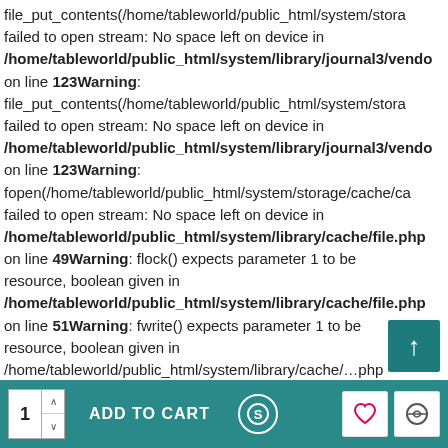file_put_contents(/home/tableworld/public_html/system/storage/... failed to open stream: No space left on device in /home/tableworld/public_html/system/library/journal3/vendo... on line 123Warning: file_put_contents(/home/tableworld/public_html/system/storage/... failed to open stream: No space left on device in /home/tableworld/public_html/system/library/journal3/vendo... on line 123Warning: fopen(/home/tableworld/public_html/system/storage/cache/ca... failed to open stream: No space left on device in /home/tableworld/public_html/system/library/cache/file.php on line 49Warning: flock() expects parameter 1 to be resource, boolean given in /home/tableworld/public_html/system/library/cache/file.php on line 51Warning: fwrite() expects parameter 1 to be resource, boolean given in /home/tableworld/public_html/system/library/cache/...php
[Figure (screenshot): Teal scroll-to-top button with upward arrow, bottom right of page]
1  ADD TO CART  (S)  [heart icon]  [swap icon]